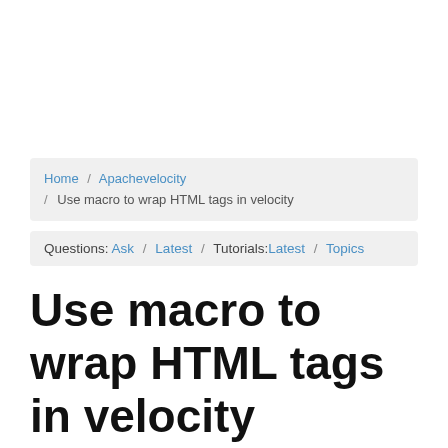Home / Apachevelocity / Use macro to wrap HTML tags in velocity
Questions: Ask / Latest / Tutorials: Latest / Topics
Use macro to wrap HTML tags in velocity
This Example shows you how to use macro to wrap HTML tag in velocity template.